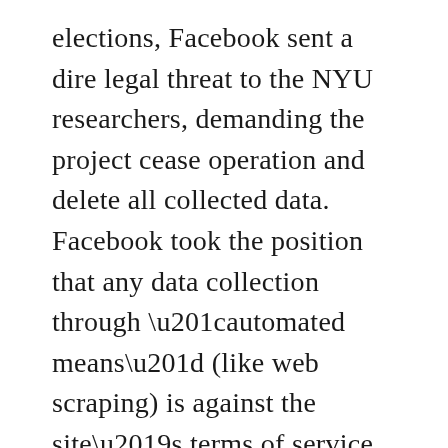elections, Facebook sent a dire legal threat to the NYU researchers, demanding the project cease operation and delete all collected data. Facebook took the position that any data collection through “automated means” (like web scraping) is against the site’s terms of service. But hidden behind the jargon is the simple truth that “scraping” is no different than a user copying and pasting. Automation here is just a matter of convenience, with no unique or additional information being reached or data collected by